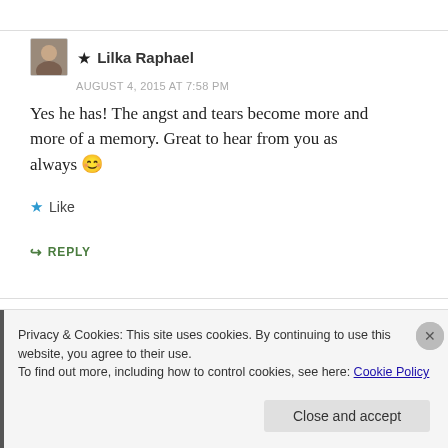★ Lilka Raphael
AUGUST 4, 2015 AT 7:58 PM
Yes he has! The angst and tears become more and more of a memory. Great to hear from you as always 😊
★ Like
↪ REPLY
Privacy & Cookies: This site uses cookies. By continuing to use this website, you agree to their use.
To find out more, including how to control cookies, see here: Cookie Policy
Close and accept